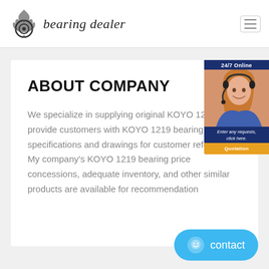bearing dealer
ABOUT COMPANY
We specialize in supplying original KOYO 1219 and provide customers with KOYO 1219 bearing size, specifications and drawings for customer reference. My company's KOYO 1219 bearing price concessions, adequate inventory, and other similar products are available for recommendation
[Figure (photo): 24/7 Online customer service widget showing a woman with headset and a Quotation button]
contact